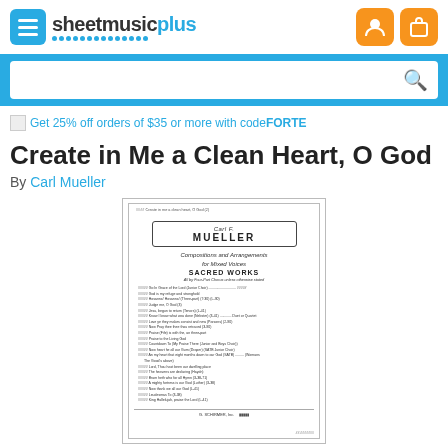sheetmusicplus
Get 25% off orders of $35 or more with code FORTE
Create in Me a Clean Heart, O God
By Carl Mueller
[Figure (illustration): Sheet music catalog cover for Carl F. Mueller Sacred Works, showing ornate border design with compositions and arrangements for mixed voices listed inside]